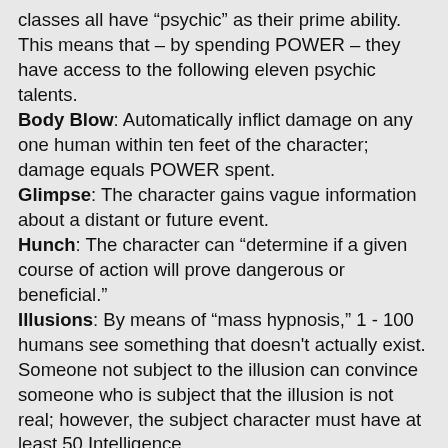classes all have “psychic” as their prime ability.  This means that – by spending POWER – they have access to the following eleven psychic talents.
Body Blow:  Automatically inflict damage on any one human within ten feet of the character; damage equals POWER spent.
Glimpse:  The character gains vague information about a distant or future event.
Hunch:  The character can “determine if a given course of action will prove dangerous or beneficial.”
Illusions:  By means of “mass hypnosis,” 1 - 100 humans see something that doesn't actually exist.  Someone not subject to the illusion can convince someone who is subject that the illusion is not real; however, the subject character must have at least 50 Intelligence.
Mind Reading:  The character can determine the main concern of any one person within twenty feet.
Tulpa Creation:  The character can “create an illusionary human or animal” that will act independently for one segment.  (rabbit hole)
Teleport:  The character can “mentally transport any inanimate object through any non-magical barrier.”